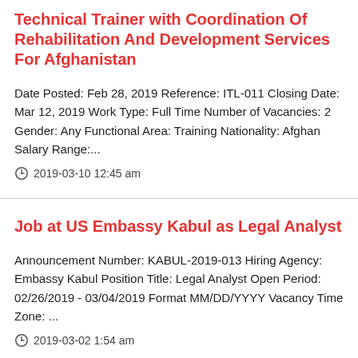Technical Trainer with Coordination Of Rehabilitation And Development Services For Afghanistan
Date Posted: Feb 28, 2019 Reference: ITL-011 Closing Date: Mar 12, 2019 Work Type: Full Time Number of Vacancies: 2 Gender: Any Functional Area: Training Nationality: Afghan Salary Range:...
2019-03-10 12:45 am
Job at US Embassy Kabul as Legal Analyst
Announcement Number: KABUL-2019-013 Hiring Agency: Embassy Kabul Position Title: Legal Analyst Open Period: 02/26/2019 - 03/04/2019 Format MM/DD/YYYY Vacancy Time Zone: ...
2019-03-02 1:54 am